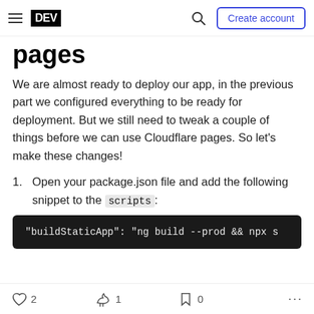DEV — Create account
pages
We are almost ready to deploy our app, in the previous part we configured everything to be ready for deployment. But we still need to tweak a couple of things before we can use Cloudflare pages. So let's make these changes!
Open your package.json file and add the following snippet to the scripts:
[Figure (screenshot): Dark code block showing: "buildStaticApp": "ng build --prod && npx s]